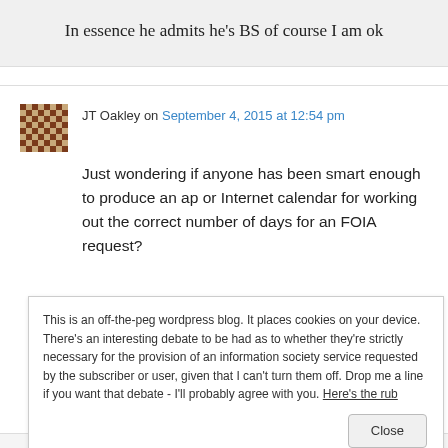In essence he admits he's BS of course I am ok
JT Oakley on September 4, 2015 at 12:54 pm
Just wondering if anyone has been smart enough to produce an ap or Internet calendar for working out the correct number of days for an FOIA request?
This is an off-the-peg wordpress blog. It places cookies on your device. There's an interesting debate to be had as to whether they're strictly necessary for the provision of an information society service requested by the subscriber or user, given that I can't turn them off. Drop me a line if you want that debate - I'll probably agree with you. Here's the rub
Close